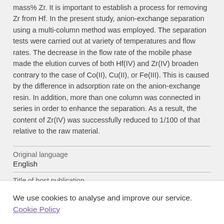mass% Zr. It is important to establish a process for removing Zr from Hf. In the present study, anion-exchange separation using a multi-column method was employed. The separation tests were carried out at variety of temperatures and flow rates. The decrease in the flow rate of the mobile phase made the elution curves of both Hf(IV) and Zr(IV) broaden contrary to the case of Co(II), Cu(II), or Fe(III). This is caused by the difference in adsorption rate on the anion-exchange resin. In addition, more than one column was connected in series in order to enhance the separation. As a result, the content of Zr(IV) was successfully reduced to 1/100 of that relative to the raw material.
Original language
English
Title of host publication
T.T. Chen Honorary Symposium on
We use cookies to analyse and improve our service. Cookie Policy